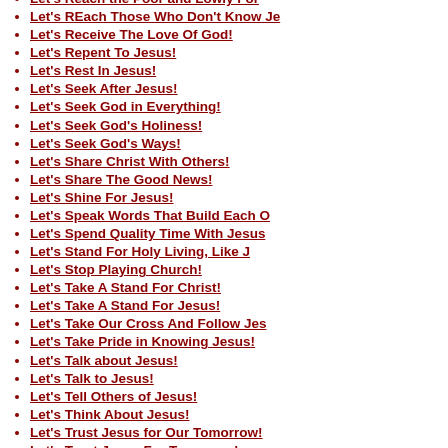Let's Reach the Poor and Lowly For
Let's REach Those Who Don't Know Je
Let's Receive The Love Of God!
Let's Repent To Jesus!
Let's Rest In Jesus!
Let's Seek After Jesus!
Let's Seek God in Everything!
Let's Seek God's Holiness!
Let's Seek God's Ways!
Let's Share Christ With Others!
Let's Share The Good News!
Let's Shine For Jesus!
Let's Speak Words That Build Each O
Let's Spend Quality Time With Jesus
Let's Stand For Holy Living, Like J
Let's Stop Playing Church!
Let's Take A Stand For Christ!
Let's Take A Stand For Jesus!
Let's Take Our Cross And Follow Jes
Let's Take Pride in Knowing Jesus!
Let's Talk about Jesus!
Let's Talk to Jesus!
Let's Tell Others of Jesus!
Let's Think About Jesus!
Let's Trust Jesus for Our Tomorrow!
Let's Trust Jesus For Tomorrow!
Let's Trust Jesus For Tomorrow!
Let's Turn To Jesus!
Let's Walk In Forgiveness!
Let's Walk In God's Holiness!